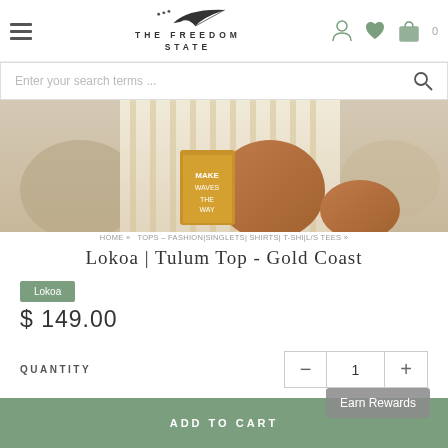THE FREEDOM STATE
[Figure (screenshot): Website search bar with placeholder text 'Enter your search terms...' and a search icon]
[Figure (photo): Product photo showing a person in a striped top holding a yellow/gold book, on a beach or rocky setting]
HOME » TOPS – FASHION|SINGLETS| SHIRTS| T-SHI|L/S TEES »
Lokoa | Tulum Top - Gold Coast
Lokoa
$ 149.00
QUANTITY
ADD TO CART
Earn Rewards